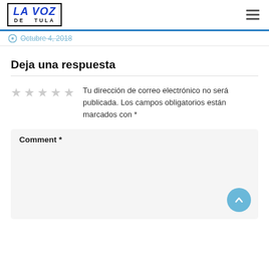[Figure (logo): La Voz de Tula newspaper logo in a bordered box]
Octubre 4, 2018
Deja una respuesta
Tu dirección de correo electrónico no será publicada. Los campos obligatorios están marcados con *
Comment *